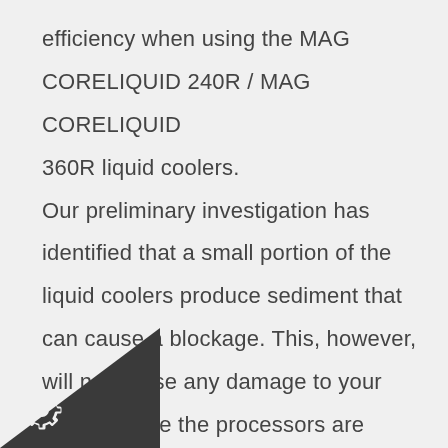efficiency when using the MAG CORELIQUID 240R / MAG CORELIQUID 360R liquid coolers. Our preliminary investigation has identified that a small portion of the liquid coolers produce sediment that can cause a blockage. This, however, will not cause any damage to your system since the processors are ipped with a protection mechanism